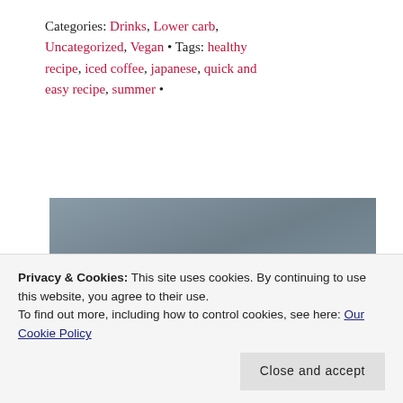Categories: Drinks, Lower carb, Uncategorized, Vegan • Tags: healthy recipe, iced coffee, japanese, quick and easy recipe, summer •
[Figure (photo): Image with dark gray/blue textured background showing 'Tangy & Twisted' in bold pink text and cursive white subtitle text below, with food items partially visible at the bottom]
Privacy & Cookies: This site uses cookies. By continuing to use this website, you agree to their use.
To find out more, including how to control cookies, see here: Our Cookie Policy
Close and accept